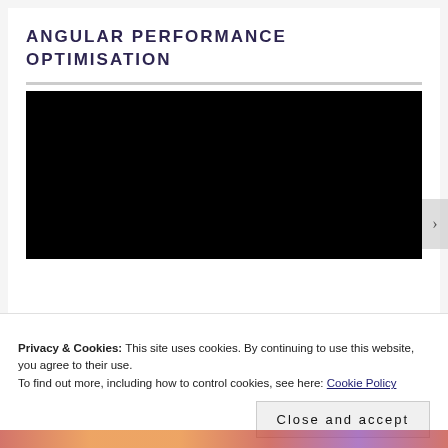ANGULAR PERFORMANCE OPTIMISATION
[Figure (screenshot): Black video player area, no content visible]
Privacy & Cookies: This site uses cookies. By continuing to use this website, you agree to their use.
To find out more, including how to control cookies, see here: Cookie Policy
Close and accept